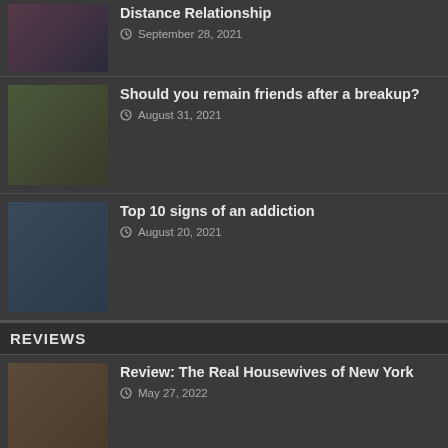Distance Relationship — September 28, 2021
Should you remain friends after a breakup? — August 31, 2021
Top 10 signs of an addiction — August 20, 2021
REVIEWS
Review: The Real Housewives of New York — May 27, 2022
Gordon Ramsay's Top 10 Funniest Moments! — January 14, 2022
What to do when your show g...
[Figure (logo): TrustedSite Certified Secure badge]